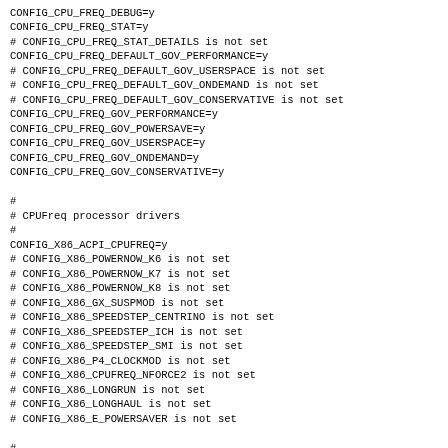CONFIG_CPU_FREQ_DEBUG=y
CONFIG_CPU_FREQ_STAT=y
# CONFIG_CPU_FREQ_STAT_DETAILS is not set
CONFIG_CPU_FREQ_DEFAULT_GOV_PERFORMANCE=y
# CONFIG_CPU_FREQ_DEFAULT_GOV_USERSPACE is not set
# CONFIG_CPU_FREQ_DEFAULT_GOV_ONDEMAND is not set
# CONFIG_CPU_FREQ_DEFAULT_GOV_CONSERVATIVE is not set
CONFIG_CPU_FREQ_GOV_PERFORMANCE=y
CONFIG_CPU_FREQ_GOV_POWERSAVE=y
CONFIG_CPU_FREQ_GOV_USERSPACE=y
CONFIG_CPU_FREQ_GOV_ONDEMAND=y
CONFIG_CPU_FREQ_GOV_CONSERVATIVE=y

#
# CPUFreq processor drivers
#
CONFIG_X86_ACPI_CPUFREQ=y
# CONFIG_X86_POWERNOW_K6 is not set
# CONFIG_X86_POWERNOW_K7 is not set
# CONFIG_X86_POWERNOW_K8 is not set
# CONFIG_X86_GX_SUSPMOD is not set
# CONFIG_X86_SPEEDSTEP_CENTRINO is not set
# CONFIG_X86_SPEEDSTEP_ICH is not set
# CONFIG_X86_SPEEDSTEP_SMI is not set
# CONFIG_X86_P4_CLOCKMOD is not set
# CONFIG_X86_CPUFREQ_NFORCE2 is not set
# CONFIG_X86_LONGRUN is not set
# CONFIG_X86_LONGHAUL is not set
# CONFIG_X86_E_POWERSAVER is not set

#